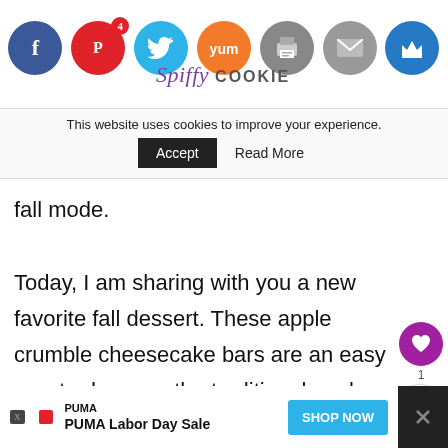[Figure (screenshot): Social media sharing icons bar: Facebook (blue), Pinterest (red, badge 4), Twitter (cyan), Yummly (orange), Print (gray), Mail (gray), Crown (blue). Cookie monster mascot logo and Spiffy Cookie site logo visible.]
This website uses cookies to improve your experience.
Accept   Read More
fall mode.

Today, I am sharing with you a new favorite fall dessert. These apple crumble cheesecake bars are an easy way to dress up the traditional apple crumble by adding a cheesecake layer underneath all that entire apple pie filling. The bars are a sweet combination of the warm spices of the fall and the delectable creaminess of cheesecake.
[Figure (infographic): Heart (save) button with count 1 and share button on right side of page]
WHAT'S NEXT → Guest Post: Mixed Berry...
[Figure (screenshot): Advertisement bar at bottom: PUMA Labor Day Sale with SHOP NOW button]